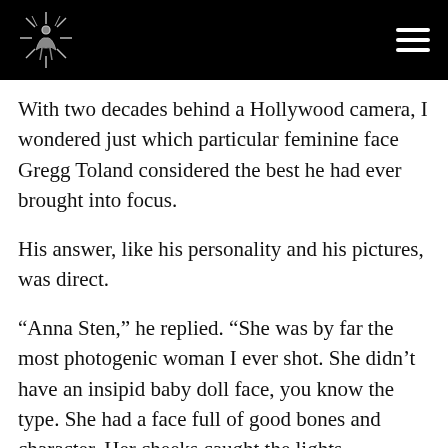[Logo] [Navigation menu]
With two decades behind a Hollywood camera, I wondered just which particular feminine face Gregg Toland considered the best he had ever brought into focus.
His answer, like his personality and his pictures, was direct.
“Anna Sten,” he replied. “She was by far the most photogenic woman I ever shot. She didn’t have an insipid baby doll face, you know the type. She had a face full of good bones and character. Her cheeks caught the lights